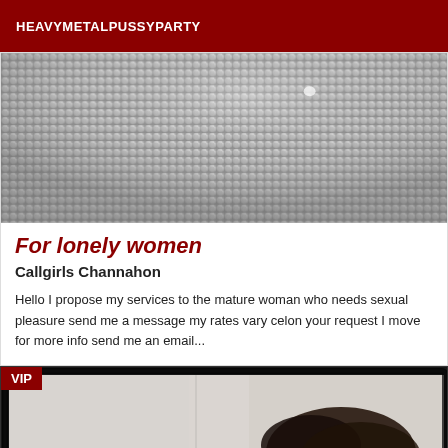HEAVYMETALPUSSYPARTY
[Figure (photo): Close-up photograph of a gray metallic mesh or fabric texture, blurred slightly at edges]
For lonely women
Callgirls Channahon
Hello I propose my services to the mature woman who needs sexual pleasure send me a message my rates vary celon your request I move for more info send me an email...
[Figure (photo): VIP labeled photo showing a person with dark hair, partial view, against a light background, dark border frame]